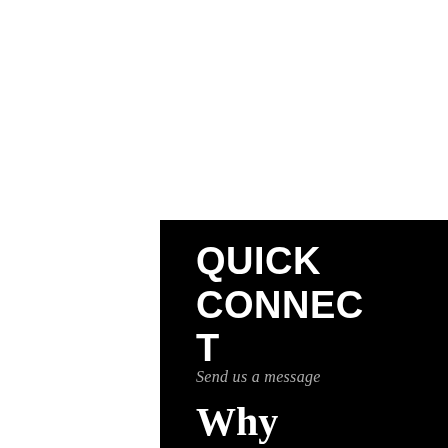QUICK CONNECT
Send us a message
Why Choose